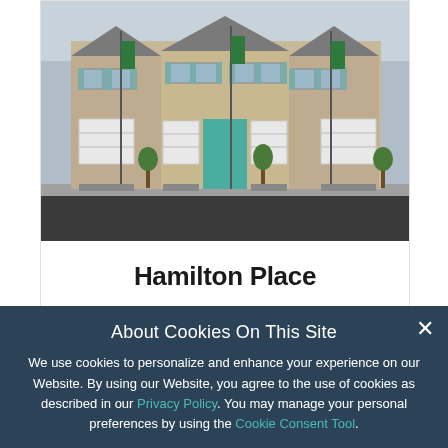[Figure (photo): Exterior photo of Hamilton Place townhomes — a row of beige/tan multi-unit townhouses with white garage doors and teal accent shutters/doors, green street banners, small trees, and a dark asphalt street in front]
Hamilton Place
Homestead, FL
Sold Out
About Cookies On This Site
We use cookies to personalize and enhance your experience on our Website. By using our Website, you agree to the use of cookies as described in our Privacy Policy. You may manage your personal preferences by using the Cookie Consent Tool.